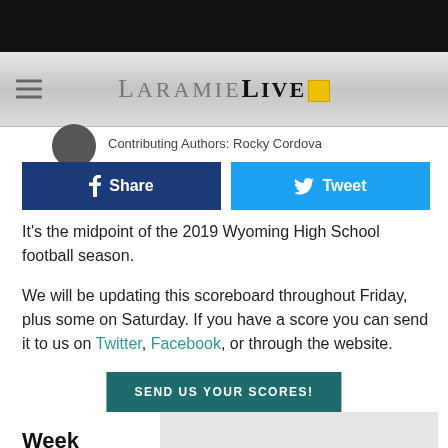LaramieLive
Contributing Authors: Rocky Cordova
[Figure (other): Facebook Share button and Twitter Tweet button]
It's the midpoint of the 2019 Wyoming High School football season.
We will be updating this scoreboard throughout Friday, plus some on Saturday. If you have a score you can send it to us on Twitter, Facebook, or through the website.
SEND US YOUR SCORES!
Week